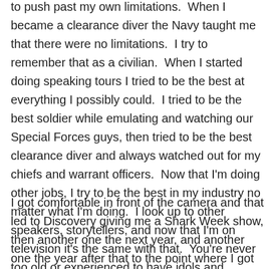to push past my own limitations.  When I became a clearance diver the Navy taught me that there were no limitations.  I try to remember that as a civilian.  When I started doing speaking tours I tried to be the best at everything I possibly could.  I tried to be the best soldier while emulating and watching our Special Forces guys, then tried to be the best clearance diver and always watched out for my chiefs and warrant officers.  Now that I'm doing other jobs, I try to be the best in my industry no matter what I'm doing.  I look up to other speakers, storytellers, and now that I'm on television it's the same with that.  You're never too old or experienced to have idols and heroes.  The TV stuff is my goal and it started off very slowly.  I was doing interviews and lots of them.
I got comfortable in front of the camera and that led to Discovery giving me a Shark Week show, then another one the next year, and another one the year after that to the point where I got